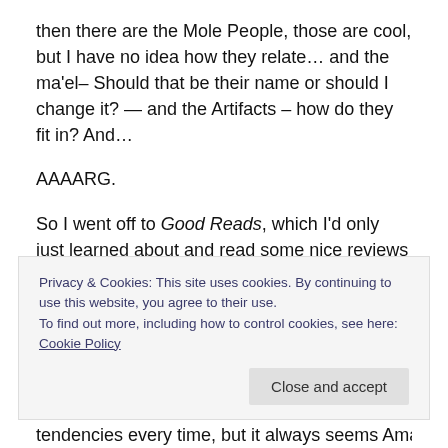then there are the Mole People, those are cool, but I have no idea how they relate… and the ma'el– Should that be their name or should I change it? — and the Artifacts – how do they fit in? And…
AAAARG.
So I went off to Good Reads, which I'd only just learned about and read some nice reviews about The Light of Eidon…
Ahem.
Privacy & Cookies: This site uses cookies. By continuing to use this website, you agree to their use.
To find out more, including how to control cookies, see here: Cookie Policy
tendencies every time, but it always seems Amazing and